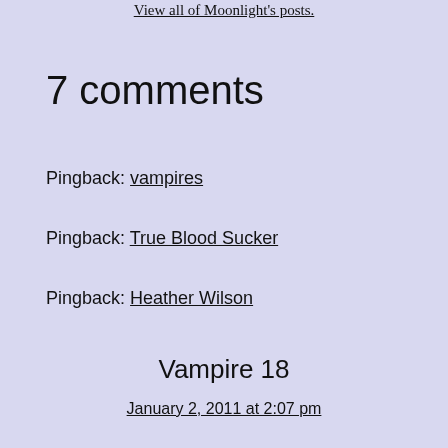View all of Moonlight's posts.
7 comments
Pingback: vampires
Pingback: True Blood Sucker
Pingback: Heather Wilson
Vampire 18
January 2, 2011 at 2:07 pm